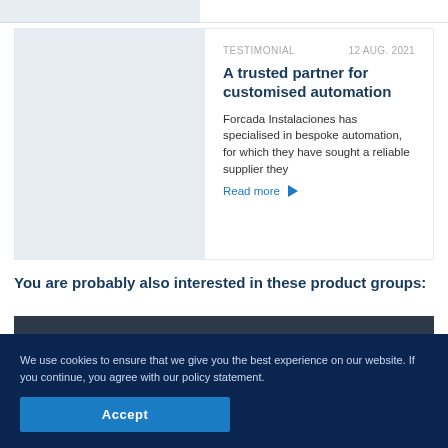[Figure (other): Testimonial card with light blue placeholder image on left and text content on right]
A trusted partner for customised automation
Forcada Instalaciones has specialised in bespoke automation, for which they have sought a reliable supplier they
Read more →
You are probably also interested in these product groups:
[Figure (photo): Close-up photo of industrial components — white/grey fitting and blue cylindrical part on dark background]
We use cookies to ensure that we give you the best experience on our website. If you continue, you agree with our policy statement.
Accept